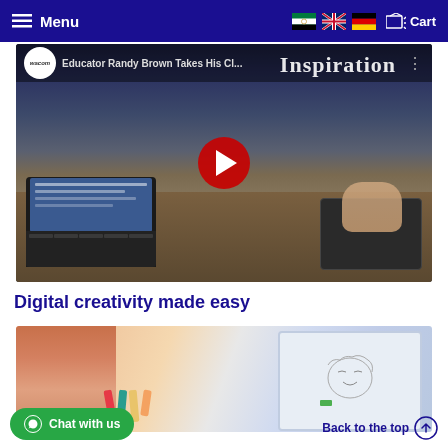Menu | Cart
[Figure (screenshot): YouTube video thumbnail showing a Wacom educator video titled 'Educator Randy Brown Takes His Cl...' with Inspiration branding, and a classroom scene with a person using a Wacom tablet alongside a laptop. A red YouTube play button is centered on the image.]
Digital creativity made easy
[Figure (photo): Partial photo showing a person working creatively with digital tools, a tablet, and colored markers on a desk, with a screen visible.]
Chat with us
Back to the top